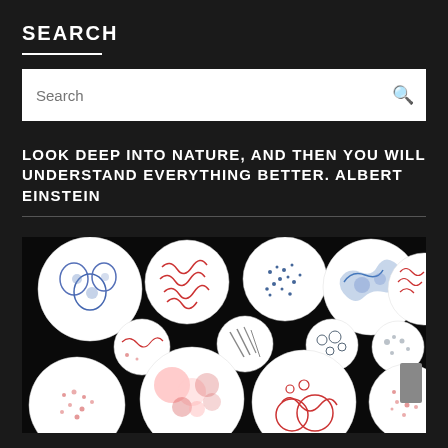SEARCH
Search
LOOK DEEP INTO NATURE, AND THEN YOU WILL UNDERSTAND EVERYTHING BETTER. ALBERT EINSTEIN
[Figure (photo): Collection of circular microscope slides arranged on black background, showing various microorganisms and cells drawn/illustrated in blue and red colors on white circular backgrounds]